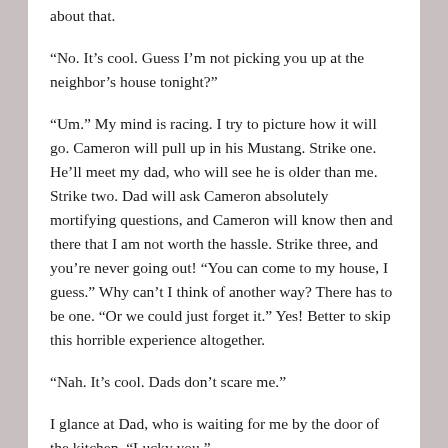about that.
“No. It’s cool. Guess I’m not picking you up at the neighbor’s house tonight?”
“Um.” My mind is racing. I try to picture how it will go. Cameron will pull up in his Mustang. Strike one. He’ll meet my dad, who will see he is older than me. Strike two. Dad will ask Cameron absolutely mortifying questions, and Cameron will know then and there that I am not worth the hassle. Strike three, and you’re never going out! “You can come to my house, I guess.” Why can’t I think of another way? There has to be one. “Or we could just forget it.” Yes! Better to skip this horrible experience altogether.
“Nah. It’s cool. Dads don’t scare me.”
I glance at Dad, who is waiting for me by the door of the kitchen. “Lucky you.”
*********